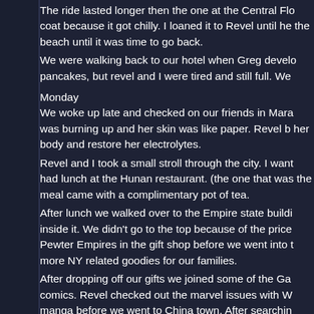The ride lasted longer then the one at the Central Flo coat because it got chilly. I loaned it to Revel until he the beach until it was time to go back.
We were walking back to our hotel when Greg develo pancakes, but revel and I were tired and still full. We
Monday
We woke up late and checked on our friends in Mara was burning up and her skin was like paper. Revel b her body and restore her electrolytes.
Revel and I took a small stroll through the city. I want had lunch at the Hunan restaurant. (the one that was the meal came with a complimentary pot of tea.
After lunch we walked over to the Empire state buildi inside it. We didn't go to the top because of the price Pewter Empires in the gift shop before we went into t more NY related goodies for our families.
After dropping off our gifts we joined some of the Ga comics. Revel checked out the marvel issues with W manga before we went to China town. After searchin lovely jade house decoration for my brother. I also m